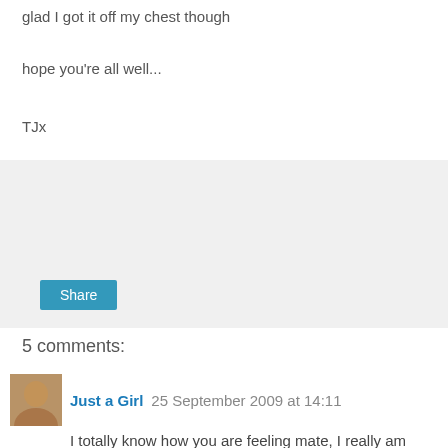glad I got it off my chest though
hope you're all well...
TJx
[Figure (other): Share widget box with a Share button]
5 comments:
Just a Girl  25 September 2009 at 14:11
I totally know how you are feeling mate, I really am wishing I hadn't bloody entered this thing, it's doing my head in!

If anyone deserves it the most chick, it's you and if I had to choose one of us to be successful, I would choose you!

Chin up babe